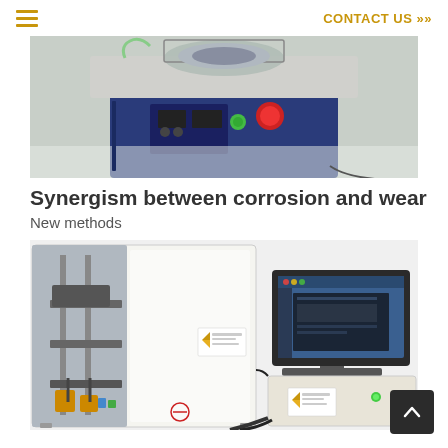≡   CONTACT US »»
[Figure (photo): Close-up photo of a laboratory tribology or corrosion testing machine with a blue base, digital display panel, green button, and red emergency stop button on a light surface]
Synergism between corrosion and wear
New methods
[Figure (photo): Laboratory testing equipment: left unit is a white cabinet-style tribocorrosion testing machine with exposed internal mechanics and a logo label; right unit shows a computer monitor displaying software interface, sitting on top of a beige/white electronic control unit with a green indicator light and logo label]